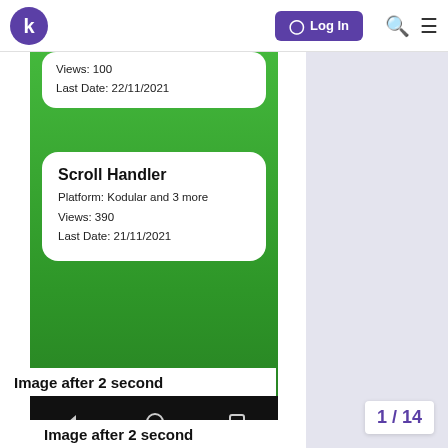k  Log In
[Figure (screenshot): Mobile app screenshot showing a green background with two white card elements. Top card (partially visible) shows 'Views: 100' and 'Last Date: 22/11/2021'. Main card shows 'Scroll Handler', 'Platform: Kodular and 3 more', 'Views: 390', 'Last Date: 21/11/2021'. Bottom Android navigation bar visible. Right side shows light purple sidebar.]
Image after 2 second
1 / 14